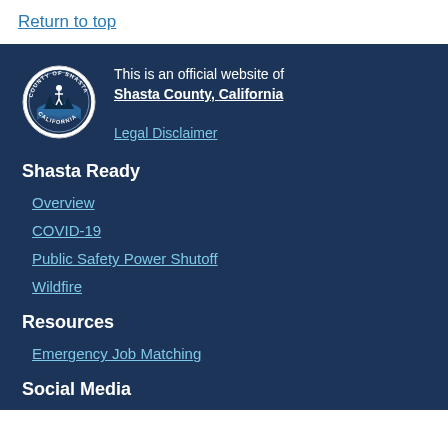Return to top
[Figure (logo): County of Shasta California official seal]
This is an official website of Shasta County, California
Legal Disclaimer
Shasta Ready
Overview
COVID-19
Public Safety Power Shutoff
Wildfire
Resources
Emergency Job Matching
Social Media